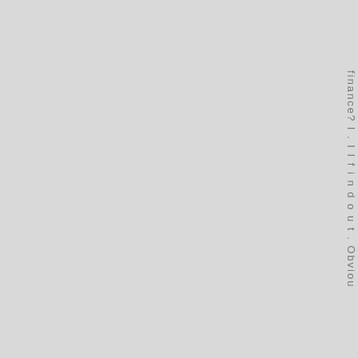finance? I . I I f i n d o u t . Obviou